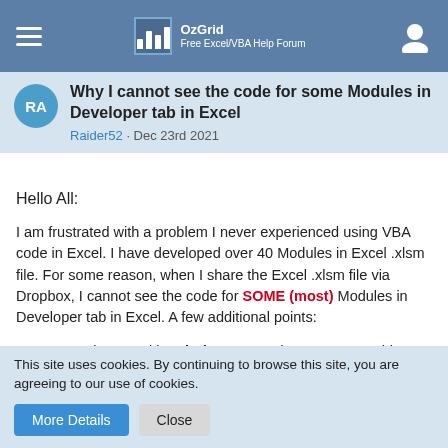OzGrid — Free Excel/VBA Help Forum
Why I cannot see the code for some Modules in Developer tab in Excel
Raider52 · Dec 23rd 2021
Hello All:
I am frustrated with a problem I never experienced using VBA code in Excel. I have developed over 40 Modules in Excel .xlsm file. For some reason, when I share the Excel .xlsm file via Dropbox, I cannot see the code for SOME (most) Modules in Developer tab in Excel. A few additional points:
1. I am running Excel in Windows 11 and can see everything (all modules, all code).
This site uses cookies. By continuing to browse this site, you are agreeing to our use of cookies.